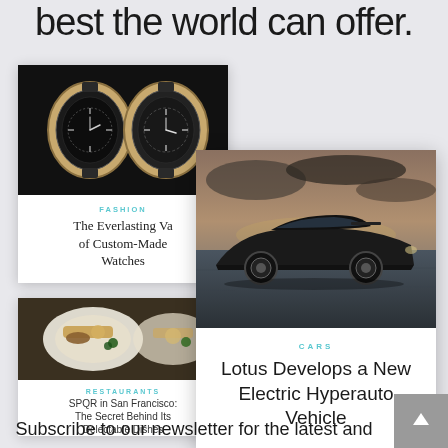best the world can offer.
[Figure (photo): Article card showing luxury watches with headline: FASHION - The Everlasting Va[lue] of Custom-Made Watches]
[Figure (photo): Article card showing gourmet food dish with headline: [RESTAURANTS] - SPQR in San Francisco: The Secret Behind Its Delectable Dishes]
[Figure (photo): Large article card showing black sports car (Lotus) on dramatic landscape with headline: CARS - Lotus Develops a New Electric Hyperauto Vehicle]
Subscribe to our newsletter for the latest and